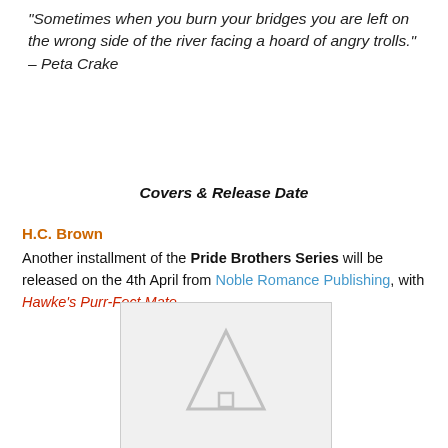"Sometimes when you burn your bridges you are left on the wrong side of the river facing a hoard of angry trolls." – Peta Crake
Covers & Release Date
H.C. Brown
Another installment of the Pride Brothers Series will be released on the 4th April from Noble Romance Publishing, with Hawke's Purr-Fect Mate.
[Figure (other): Book cover image placeholder with a triangular logo/emblem visible at the bottom]